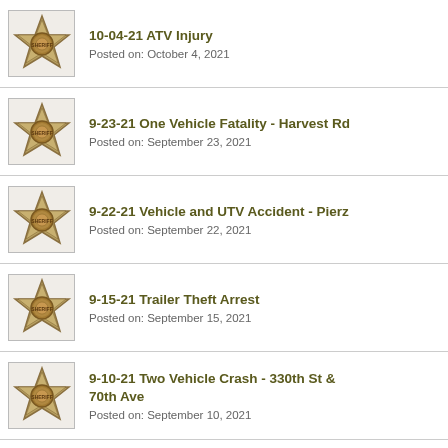10-04-21 ATV Injury
Posted on: October 4, 2021
9-23-21 One Vehicle Fatality - Harvest Rd
Posted on: September 23, 2021
9-22-21 Vehicle and UTV Accident - Pierz
Posted on: September 22, 2021
9-15-21 Trailer Theft Arrest
Posted on: September 15, 2021
9-10-21 Two Vehicle Crash - 330th St & 70th Ave
Posted on: September 10, 2021
9-9-21 Tractor v. Truck Accident - 153rd St